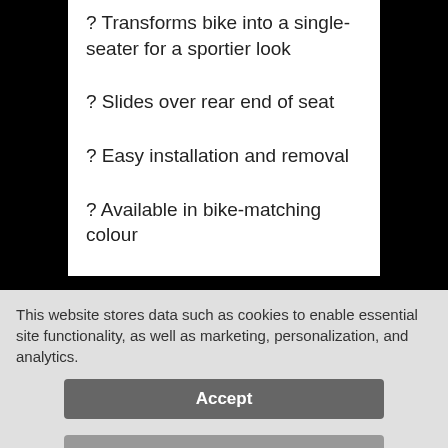? Transforms bike into a single-seater for a sportier look
? Slides over rear end of seat
? Easy installation and removal
? Available in bike-matching colour
This website stores data such as cookies to enable essential site functionality, as well as marketing, personalization, and analytics.
Accept
Deny